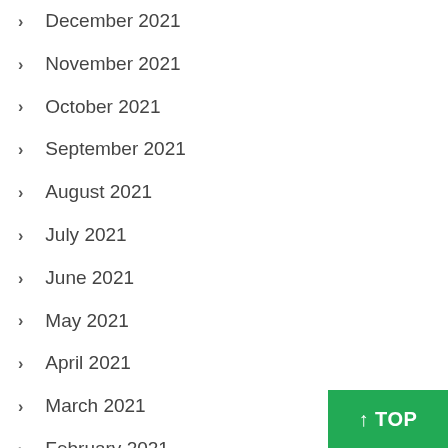December 2021
November 2021
October 2021
September 2021
August 2021
July 2021
June 2021
May 2021
April 2021
March 2021
February 2021